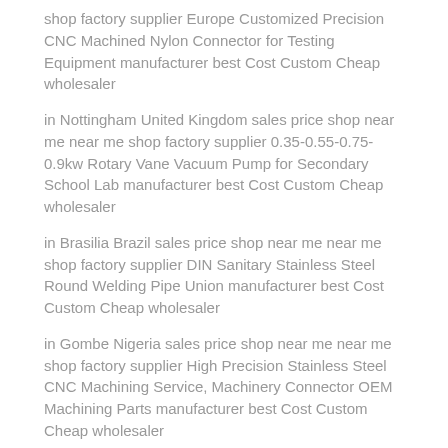shop factory supplier Europe Customized Precision CNC Machined Nylon Connector for Testing Equipment manufacturer best Cost Custom Cheap wholesaler
in Nottingham United Kingdom sales price shop near me near me shop factory supplier 0.35-0.55-0.75-0.9kw Rotary Vane Vacuum Pump for Secondary School Lab manufacturer best Cost Custom Cheap wholesaler
in Brasilia Brazil sales price shop near me near me shop factory supplier DIN Sanitary Stainless Steel Round Welding Pipe Union manufacturer best Cost Custom Cheap wholesaler
in Gombe Nigeria sales price shop near me near me shop factory supplier High Precision Stainless Steel CNC Machining Service, Machinery Connector OEM Machining Parts manufacturer best Cost Custom Cheap wholesaler